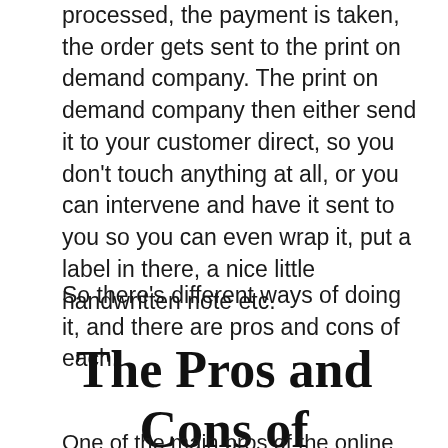processed, the payment is taken, the order gets sent to the print on demand company. The print on demand company then either send it to your customer direct, so you don't touch anything at all, or you can intervene and have it sent to you so you can even wrap it, put a label in there, a nice little handwritten note etc.
So there's different ways of doing it, and there are pros and cons of each.
The Pros and Cons of Print on Demand
One of the main pros of the online art...